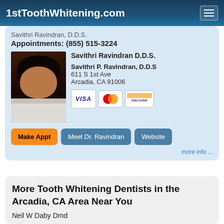1stToothWhitening.com
Savithri Ravindran, D.D.S.
Appointments: (855) 515-3224
[Figure (photo): Portrait photo of Savithri Ravindran D.D.S.]
Savithri Ravindran D.D.S.
Savithri P. Ravindran, D.D.S
611 S 1st Ave
Arcadia, CA 91006
[Figure (other): Payment card logos: VISA, MasterCard, Discover]
Make Appt   Meet Dr. Ravindran   Website
more info ...
More Tooth Whitening Dentists in the Arcadia, CA Area Near You
Neil W Daby Dmd